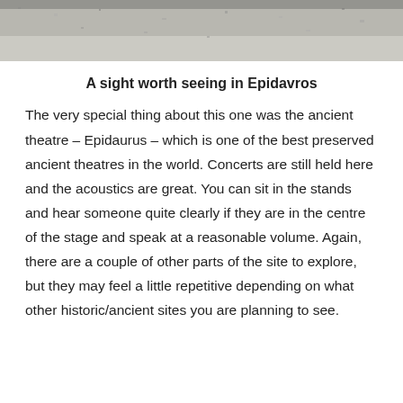[Figure (photo): Textured stone or gravel surface, shown as a horizontal band across the top of the page, grey tones.]
A sight worth seeing in Epidavros
The very special thing about this one was the ancient theatre – Epidaurus – which is one of the best preserved ancient theatres in the world. Concerts are still held here and the acoustics are great. You can sit in the stands and hear someone quite clearly if they are in the centre of the stage and speak at a reasonable volume. Again, there are a couple of other parts of the site to explore, but they may feel a little repetitive depending on what other historic/ancient sites you are planning to see.